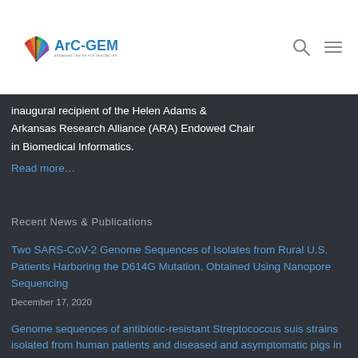[Figure (logo): ArC-GEM logo — Arkansas Center for Genomic Epidemiology & Medicine — colorful fan-shaped icon with blue text]
inaugural recipient of the Helen Adams & Arkansas Research Alliance (ARA) Endowed Chair in Biomedical Informatics.
Read more…
Recent News & Publications
Two SARS-CoV-2 Genome Sequences of Isolates from Rural U.S. Patients Harboring the D614G Mutation, Obtained Using Nanopore Sequencing
December 17, 2020
Genome sequences of antibiotic-resistant Streptococcus suis strains isolated from human patients and diseased and asymptomatic pigs in